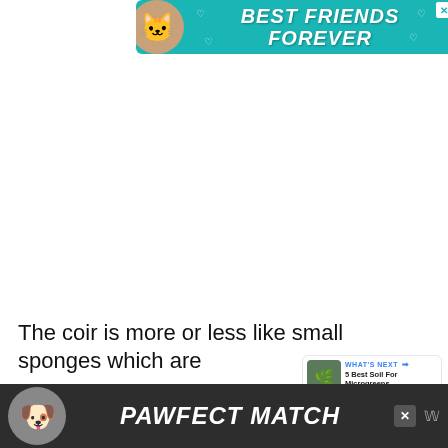[Figure (screenshot): Advertisement banner with teal background showing a cat, hearts, and text 'BEST FRIENDS FOREVER' with a close button]
[Figure (infographic): Social interaction buttons: heart/like button (blue circle), count '1', and share button]
[Figure (screenshot): What's Next widget showing thumbnail and title '5 Best Soil For Microgreens...']
The coir is more or less like small sponges which are
[Figure (screenshot): Bottom advertisement banner with dark background showing a dog and text 'PAWFECT MATCH' with a close button and 'w' icon]